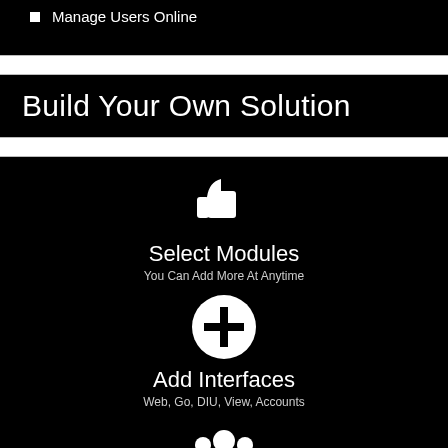Manage Users Online
Build Your Own Solution
[Figure (infographic): Three-step infographic on black background. Step 1: thumbs-up icon, 'Select Modules', 'You Can Add More At Anytime'. Step 2: plus-circle icon, 'Add Interfaces', 'Web, Go, DIU, View, Accounts'. Step 3: group-of-people icon, 'Add Users', 'Required For Core & Go Only'. Partial fourth icon visible at bottom.]